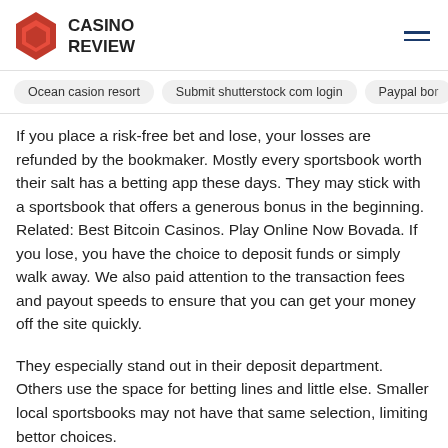CASINO REVIEW
Ocean casion resort   Submit shutterstock com login   Paypal bo...
If you place a risk-free bet and lose, your losses are refunded by the bookmaker. Mostly every sportsbook worth their salt has a betting app these days. They may stick with a sportsbook that offers a generous bonus in the beginning. Related: Best Bitcoin Casinos. Play Online Now Bovada. If you lose, you have the choice to deposit funds or simply walk away. We also paid attention to the transaction fees and payout speeds to ensure that you can get your money off the site quickly.
They especially stand out in their deposit department. Others use the space for betting lines and little else. Smaller local sportsbooks may not have that same selection, limiting bettor choices.